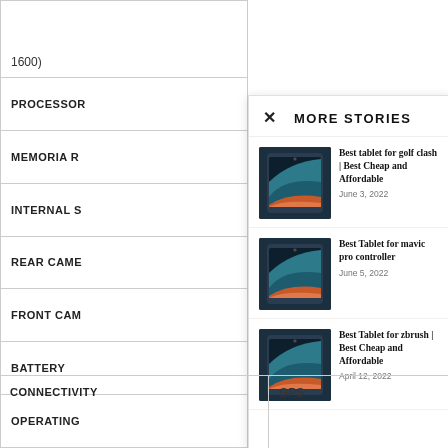|  |  |
| --- | --- |
|  | 1600) |
| PROCESSOR |  |
| MEMORIA R |  |
| INTERNAL S |  |
| REAR CAME |  |
| FRONT CAM |  |
| BATTERY |  |
| OPERATING |  |
| CONNECTIVITY | GPS |
MORE STORIES
[Figure (other): Thumbnail image of a tablet (dark colored tablet with colorful screen)]
Best tablet for golf clash | Best Cheap and Affordable
June 3, 2022
[Figure (other): Thumbnail image of a tablet (dark colored tablet with colorful screen)]
Best Tablet for mavic pro controller
June 5, 2022
[Figure (other): Thumbnail image of a tablet (dark colored tablet with colorful screen)]
Best Tablet for zbrush | Best Cheap and Affordable
April 12, 2022